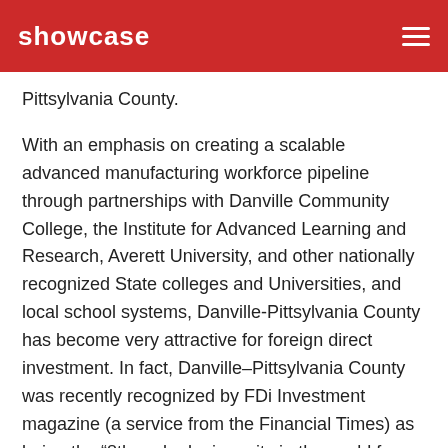showcase
Pittsylvania County.
With an emphasis on creating a scalable advanced manufacturing workforce pipeline through partnerships with Danville Community College, the Institute for Advanced Learning and Research, Averett University, and other nationally recognized State colleges and Universities, and local school systems, Danville-Pittsylvania County has become very attractive for foreign direct investment. In fact, Danville–Pittsylvania County was recently recognized by FDi Investment magazine (a service from the Financial Times) as being the “8th ranked micro-city in the world for economic potential”. This “potential” recognizes the location and operation of companies from 10 countries here in our community. We are continuing to build upon this success by the recent